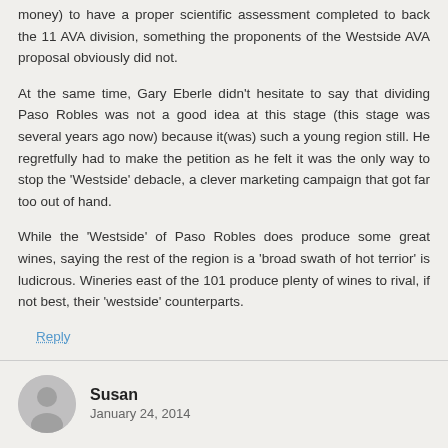money) to have a proper scientific assessment completed to back the 11 AVA division, something the proponents of the Westside AVA proposal obviously did not.
At the same time, Gary Eberle didn't hesitate to say that dividing Paso Robles was not a good idea at this stage (this stage was several years ago now) because it(was) such a young region still. He regretfully had to make the petition as he felt it was the only way to stop the 'Westside' debacle, a clever marketing campaign that got far too out of hand.
While the 'Westside' of Paso Robles does produce some great wines, saying the rest of the region is a 'broad swath of hot terrior' is ludicrous. Wineries east of the 101 produce plenty of wines to rival, if not best, their 'westside' counterparts.
Reply
Susan
January 24, 2014